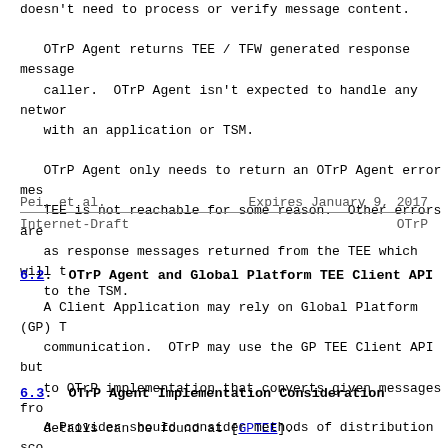doesn't need to process or verify message content.

OTrP Agent returns TEE / TFW generated response message to the caller. OTrP Agent isn't expected to handle any network communication with an application or TSM.

OTrP Agent only needs to return an OTrP Agent error message if TEE is not reachable for some reason. Other errors are propagated as response messages returned from the TEE which will then be sent to the TSM.
Pei, et al.                  Expires January 9, 2017
Internet-Draft                    OTrP
6.2. OTrP Agent and Global Platform TEE Client API
A Client Application may rely on Global Platform (GP) TEE for communication. OTrP may use the GP TEE Client API but it is up to OTrP implementation that converts given messages from/to GP API. More details can be found at [GPTEE].
6.3. OTrP Agent Implementation Consideration
A Provider should consider methods of distribution sco...